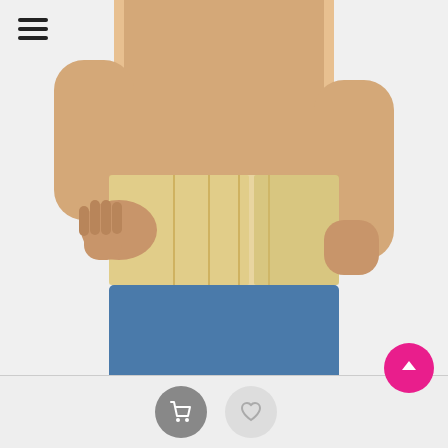[Figure (photo): Person wearing a beige lumbar sacro support brace around their lower back/waist, with blue pants visible below. Person's hands are adjusting the brace.]
Oppo Lumbar Sacro Support..
The spine has three main sections, cervical, thoracic, and lumbar. There are seven ...
₹ 2495.00 2,245.50